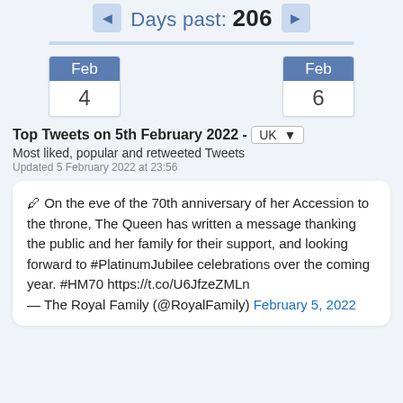[Figure (screenshot): Date slider control showing 'Days past: 206' with left and right arrow buttons, and a horizontal track connecting two calendar boxes showing Feb 4 and Feb 6]
Top Tweets on 5th February 2022 - UK
Most liked, popular and retweeted Tweets
Updated 5 February 2022 at 23:56
🖊 On the eve of the 70th anniversary of her Accession to the throne, The Queen has written a message thanking the public and her family for their support, and looking forward to #PlatinumJubilee celebrations over the coming year. #HM70 https://t.co/U6JfzeZMLn — The Royal Family (@RoyalFamily) February 5, 2022